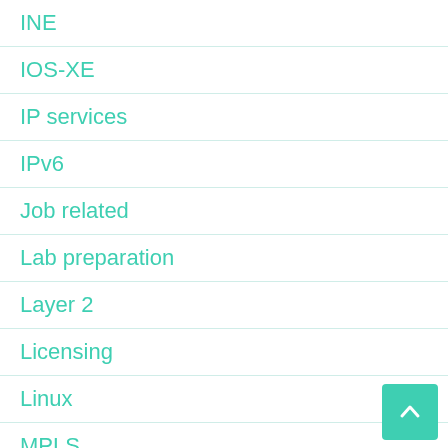INE
IOS-XE
IP services
IPv6
Job related
Lab preparation
Layer 2
Licensing
Linux
MPLS
Multicast
NAT
Netflow